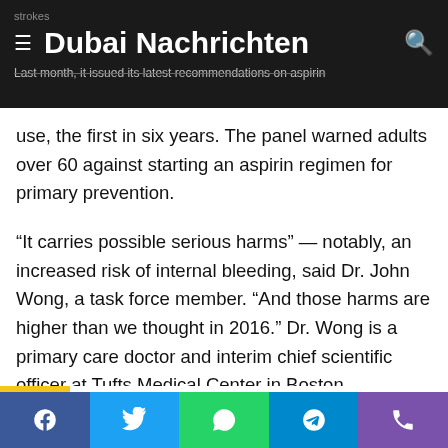Dubai Nachrichten
Last month, it issued its latest recommendations on aspirin use, the first in six years. The panel warned adults over 60 against starting an aspirin regimen for primary prevention.
“It carries possible serious harms” — notably, an increased risk of internal bleeding, said Dr. John Wong, a task force member. “And those harms are higher than we thought in 2016.” Dr. Wong is a primary care doctor and interim chief scientific officer at Tufts Medical Center in Boston.
“Primary prevention” refers to patients who have never had a heart attack or stroke and do not have heart disease. (High blood pressure, or hypertension, is not considered heart disease.) That group is the task force’s focus.
Facebook | Twitter | WhatsApp | Telegram | Phone